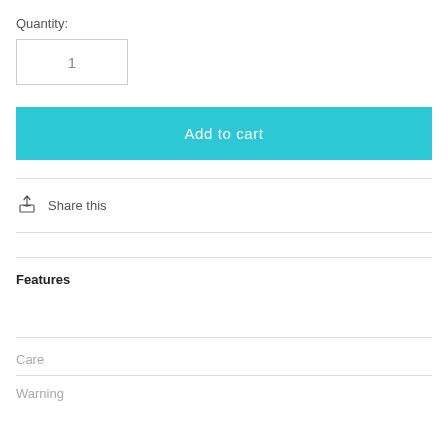Quantity:
1
Add to cart
Share this
Features
Care
Warning